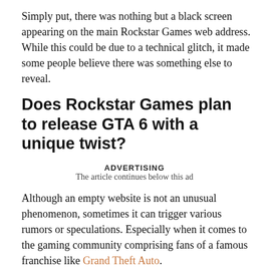Simply put, there was nothing but a black screen appearing on the main Rockstar Games web address. While this could be due to a technical glitch, it made some people believe there was something else to reveal.
Does Rockstar Games plan to release GTA 6 with a unique twist?
ADVERTISING
The article continues below this ad
Although an empty website is not an unusual phenomenon, sometimes it can trigger various rumors or speculations. Especially when it comes to the gaming community comprising fans of a famous franchise like Grand Theft Auto.
Now coming back to breaking news, the main Red Dead Redemption developer website was